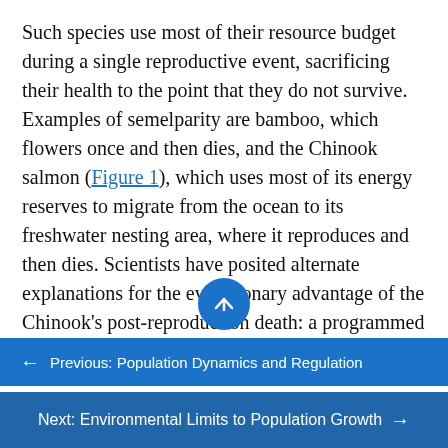Such species use most of their resource budget during a single reproductive event, sacrificing their health to the point that they do not survive. Examples of semelparity are bamboo, which flowers once and then dies, and the Chinook salmon (Figure 1), which uses most of its energy reserves to migrate from the ocean to its freshwater nesting area, where it reproduces and then dies. Scientists have posited alternate explanations for the evolutionary advantage of the Chinook's post-reproduction death: a programmed suicide caused by a massive release of corticosteroid hormones, presumably so the parents can become food for the offspring or le exhaustion caused by the energy demands of reproduction; these are still
← Previous: Population Dynamics and Regulation
Next: Environmental Limits to Population Growth →